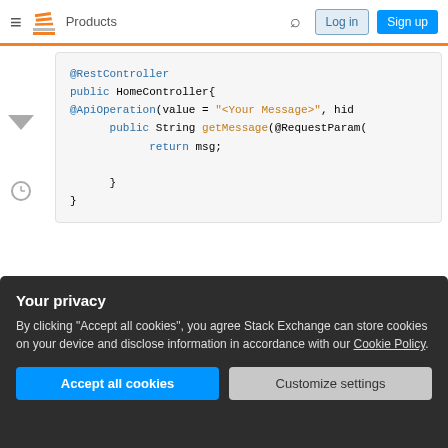≡ [Stack Overflow logo] Products [search] Log in Sign up
[Figure (screenshot): Code block showing Java Spring REST controller code with @RestController, HomeController, @ApiOperation, getMessage, @RequestParam, return msg]
Share  Follow
edited May 13, 2019 at 15:37
Derek Pollard
6,643 ● 6 ● 39 ● 57
Your privacy
By clicking "Accept all cookies", you agree Stack Exchange can store cookies on your device and disclose information in accordance with our Cookie Policy.
Accept all cookies   Customize settings